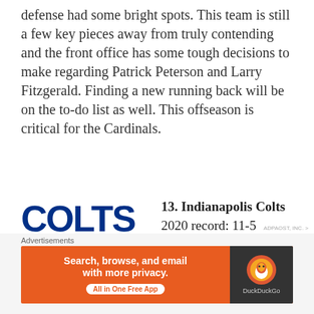defense had some bright spots. This team is still a few key pieces away from truly contending and the front office has some tough decisions to make regarding Patrick Peterson and Larry Fitzgerald. Finding a new running back will be on the to-do list as well. This offseason is critical for the Cardinals.
[Figure (logo): Indianapolis Colts logo wordmark showing 'COLTS' in large dark blue block letters]
13. Indianapolis Colts
2020 record: 11-5
Key free agents: DE Justin Houston, DE Denico Autry, WR T.Y. Hilton, S Malik Hooker, CB Xavier Rhodes, TE Trey Burton,
Advertisements
[Figure (screenshot): DuckDuckGo advertisement banner: 'Search, browse, and email with more privacy. All in One Free App' on orange background with DuckDuckGo logo on dark background]